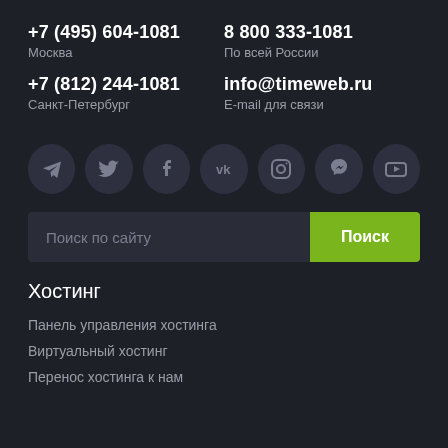+7 (495) 604-1081
Москва
8 800 333-1081
По всей России
+7 (812) 244-1081
Санкт-Петербург
info@timeweb.ru
E-mail для связи
[Figure (infographic): Row of 7 circular social media icons: Telegram, Twitter, Facebook, VKontakte, Instagram, Viber, YouTube]
Поиск по сайту
Поиск
Хостинг
Панель управления хостинга
Виртуальный хостинг
Перенос хостинга к нам